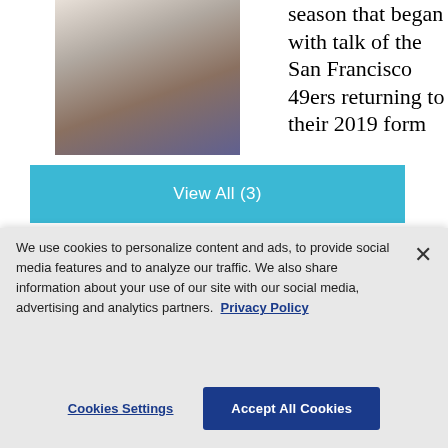[Figure (photo): Person in white long-sleeve shirt and dark pants holding papers, standing on what appears to be a sports field with blurred background]
season that began with talk of the San Francisco 49ers returning to their 2019 form that took them to the Super Bowl has instead looked a lot more like Kyle Shanahan's other four seasons as
[Figure (other): View All (3) button — a teal/blue button with white text]
We use cookies to personalize content and ads, to provide social media features and to analyze our traffic. We also share information about your use of our site with our social media, advertising and analytics partners. Privacy Policy
Cookies Settings
Accept All Cookies